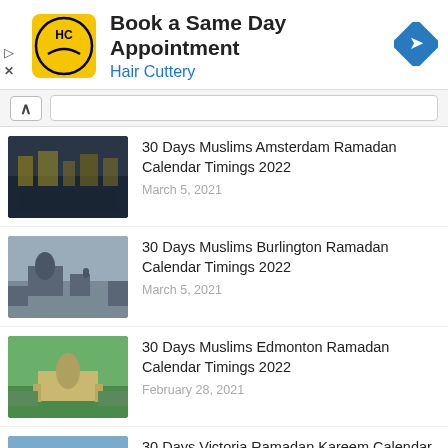[Figure (infographic): Hair Cuttery advertisement banner: yellow HC logo, text 'Book a Same Day Appointment' and 'Hair Cuttery', blue navigation arrow icon]
30 Days Muslims Amsterdam Ramadan Calendar Timings 2022
March 5, 2021
30 Days Muslims Burlington Ramadan Calendar Timings 2022
March 5, 2021
30 Days Muslims Edmonton Ramadan Calendar Timings 2022
February 28, 2021
30 Days Victoria Ramadan Kareem Calendar Timings 2022